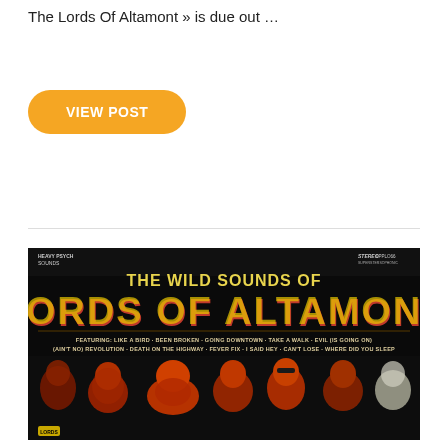The Lords Of Altamont » is due out …
VIEW POST
[Figure (photo): Album cover for 'The Wild Sounds of Lords Of Altamont' on Heavy Psych Sounds label. Black background with large red and yellow retro lettering reading 'THE WILD SOUNDS OF LORDS OF ALTAMONT'. Features tracklist text and illustrated/photo-artwork of band members in red and orange tones against black background.]